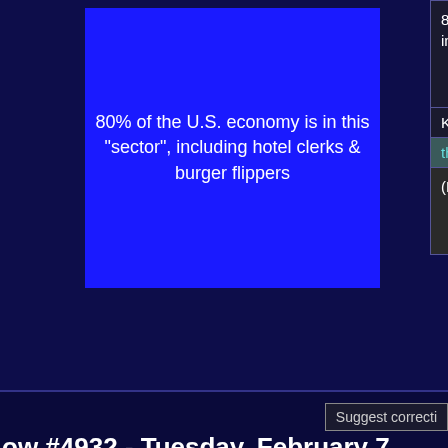[Figure (screenshot): Blue Jeopardy clue card showing '80% of the U.S. economy is in this "sector", including hotel clerks & burger flippers']
80% of the U.S. economy is in this "sector", including hotel clerks & burger flippers
80% of the U.S. economy is in this "sector", including hotel clerks &
Katie  Matt  Lauren
the service sector
(Lauren: What is the private sector?)
Suggest correcti
ow #4932 - Tuesday, February 7, 2006
2006 Teen Tournament quarterfinal game 2.